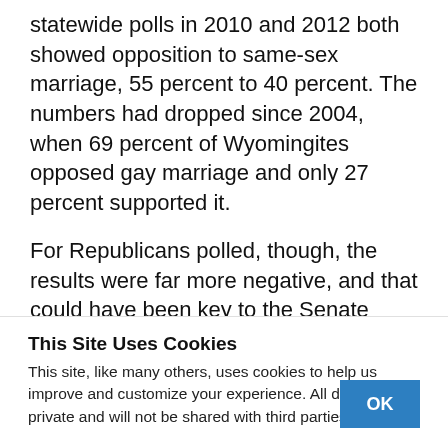statewide polls in 2010 and 2012 both showed opposition to same-sex marriage, 55 percent to 40 percent. The numbers had dropped since 2004, when 69 percent of Wyomingites opposed gay marriage and only 27 percent supported it.
For Republicans polled, though, the results were far more negative, and that could have been key to the Senate primary if Liz Cheney had remained silent. King said during the past two election-year
This Site Uses Cookies
This site, like many others, uses cookies to help us improve and customize your experience. All data is private and will not be shared with third parties.